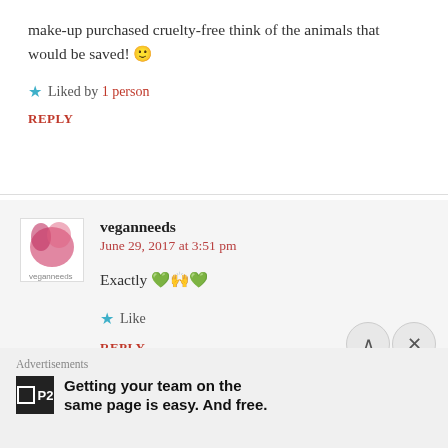make-up purchased cruelty-free think of the animals that would be saved! 🙂
★ Liked by 1 person
REPLY
veganneeds
June 29, 2017 at 3:51 pm
Exactly 💚🙌💚
★ Like
REPLY
Advertisements
Getting your team on the same page is easy. And free.